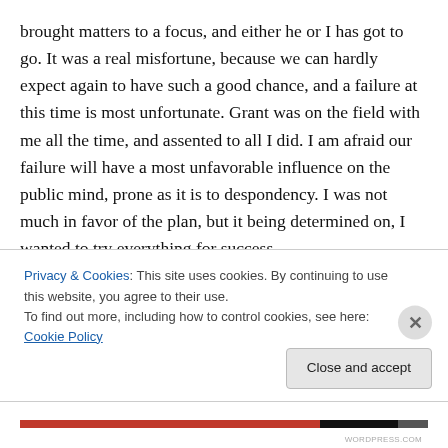brought matters to a focus, and either he or I has got to go. It was a real misfortune, because we can hardly expect again to have such a good chance, and a failure at this time is most unfortunate. Grant was on the field with me all the time, and assented to all I did. I am afraid our failure will have a most unfavorable influence on the public mind, prone as it is to despondency. I was not much in favor of the plan, but it being determined on, I wanted to try everything for success.

Grant went last night to see the President. What the result
Privacy & Cookies: This site uses cookies. By continuing to use this website, you agree to their use.
To find out more, including how to control cookies, see here: Cookie Policy
Close and accept